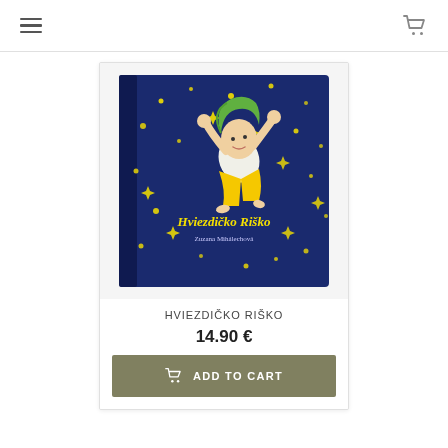navigation header with hamburger menu and cart icon
[Figure (photo): Book cover of 'Hviezdičko Riško' by Zuzana Mihálechová — dark navy blue cover with yellow stars and a child with green hair floating in a starry sky, wearing a white top and yellow trousers]
HVIEZDIČKO RIŠKO
14.90 €
ADD TO CART